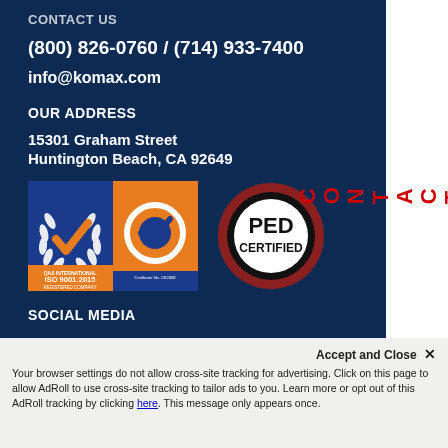CONTACT US
(800) 826-0760 / (714) 933-7400
info@komax.com
OUR ADDRESS
15301 Graham Street
Huntington Beach, CA 92649
[Figure (logo): QAS International ISO 9001:2015 Registered Company Certificate No. US2008 badge]
[Figure (logo): PED Certified circular badge]
SOCIAL MEDIA
Accept and Close ✕
Your browser settings do not allow cross-site tracking for advertising. Click on this page to allow AdRoll to use cross-site tracking to tailor ads to you. Learn more or opt out of this AdRoll tracking by clicking here. This message only appears once.